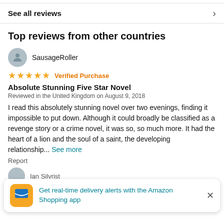See all reviews
Top reviews from other countries
SausageRoller
★★★★★ Verified Purchase
Absolute Stunning Five Star Novel
Reviewed in the United Kingdom on August 9, 2018
I read this absolutely stunning novel over two evenings, finding it impossible to put down. Although it could broadly be classified as a revenge story or a crime novel, it was so, so much more. It had the heart of a lion and the soul of a saint, the developing relationship... See more
Report
Get real-time delivery alerts with the Amazon Shopping app
Ian Silvrist